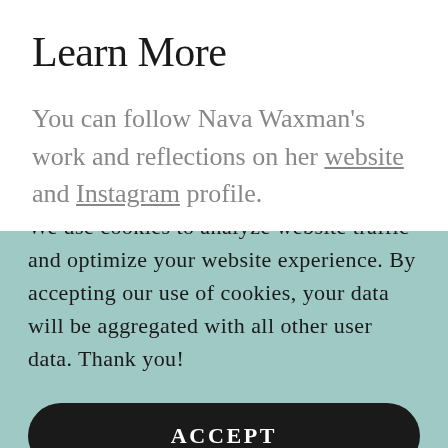Learn More
You can follow Nava Waxman's work and reflections on her website and Instagram profile.
This website uses cookies.
We use cookies to analyze website traffic and optimize your website experience. By accepting our use of cookies, your data will be aggregated with all other user data. Thank you!
ACCEPT